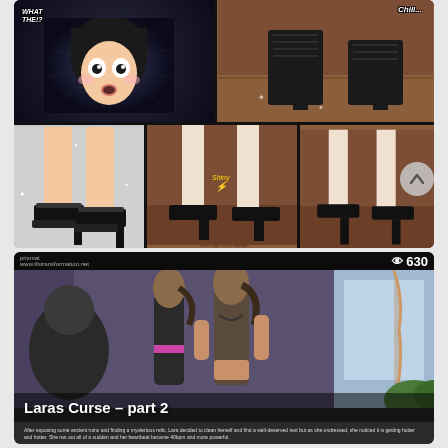[Figure (illustration): Comic/manga style panels showing anime girl reacting to high heel shoes. Top-left panel: anime girl with black hair looking surprised with speech bubble 'WHAT THE!?'. Top-right panel: close-up of black lace-up high heel shoes on wooden floor with 'Chill' text. Bottom-left panel: close-up of legs in platform high heels with sparkle effects. Bottom-middle panel: close-up of platform heels on floor with 'Shiny' effect text and 'TFS R Us' label. Bottom-right panel: legs in heels on wooden floor with speech bubble 'I CAN BARELY STAND IN THESE DAME THINGS!']
[Figure (screenshot): Video thumbnail showing two women in athletic wear looking at each other in a room. Title overlay reads 'Laras Curse - part 2'. View count shows eye icon and 630. Small watermark/logo at top left. Description text at bottom: 'After exposing some ancient ruins and finding a mysterious relic, Lara decided to clean herself and find a well-deserved rest but as she undressed, she noticed it is getting hotter and hotter. She ran out of a sudden and her heartbeat became 40bpm and more powerful.']